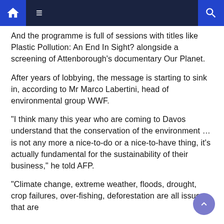Navigation bar with home, menu, and search icons
And the programme is full of sessions with titles like Plastic Pollution: An End In Sight? alongside a screening of Attenborough's documentary Our Planet.
After years of lobbying, the message is starting to sink in, according to Mr Marco Labertini, head of environmental group WWF.
“I think many this year who are coming to Davos understand that the conservation of the environment … is not any more a nice-to-do or a nice-to-have thing, it’s actually fundamental for the sustainability of their business,” he told AFP.
“Climate change, extreme weather, floods, drought, crop failures, over-fishing, deforestation are all issues that are